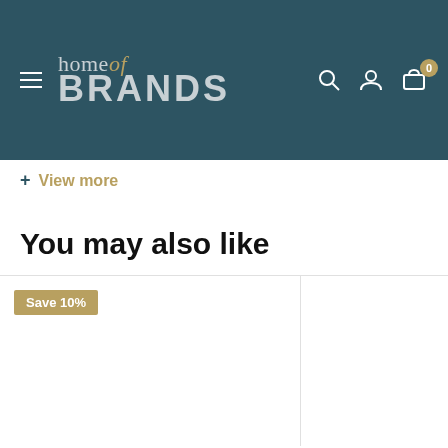home of BRANDS — navigation bar with hamburger menu, search, account, cart icons
+ View more
You may also like
[Figure (screenshot): Product card with 'Save 10%' badge on white background, partially visible product card to the right]